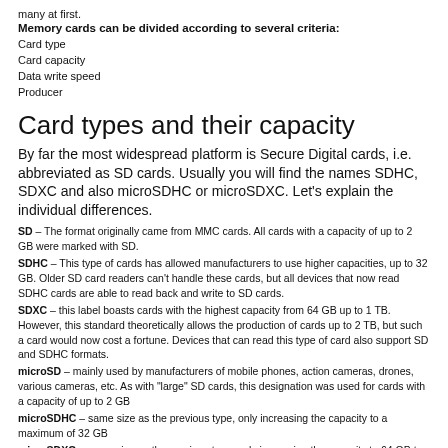many at first.
Memory cards can be divided according to several criteria:
Card type
Card capacity
Data write speed
Producer
Card types and their capacity
By far the most widespread platform is Secure Digital cards, i.e. abbreviated as SD cards. Usually you will find the names SDHC, SDXC and also microSDHC or microSDXC. Let’s explain the individual differences.
SD – The format originally came from MMC cards. All cards with a capacity of up to 2 GB were marked with SD.
SDHC – This type of cards has allowed manufacturers to use higher capacities, up to 32 GB. Older SD card readers can’t handle these cards, but all devices that now read SDHC cards are able to read back and write to SD cards.
SDXC – this label boasts cards with the highest capacity from 64 GB up to 1 TB. However, this standard theoretically allows the production of cards up to 2 TB, but such a card would now cost a fortune. Devices that can read this type of card also support SD and SDHC formats.
microSD – mainly used by manufacturers of mobile phones, action cameras, drones, various cameras, etc. As with “large” SD cards, this designation was used for cards with a capacity of up to 2 GB
microSDHC – same size as the previous type, only increasing the capacity to a maximum of 32 GB
microSDXC – same size as the previous type, only increasing the capacity to 64 GB to 512 GB